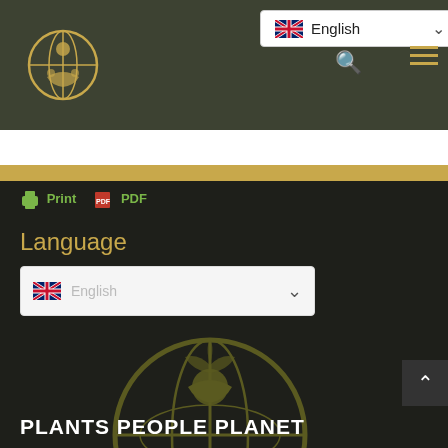English (language selector dropdown)
[Figure (logo): Circular globe logo with human figures and plant imagery in gold/olive color]
Print  PDF
Language
English (language select dropdown with UK flag)
[Figure (logo): Large circular globe logo with human figures in dark gold/olive, watermark style on dark background]
PLANTS PEOPLE PLANET